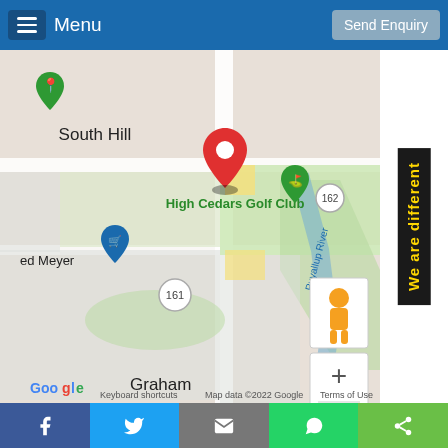Menu | Send Enquiry
[Figure (map): Google Maps screenshot showing South Hill area with High Cedars Golf Club marked with a red pin. Shows nearby landmarks including Fred Meyer with blue shopping cart pin, route 161 and 162 markers, Puyallup River label, and Graham area. Map controls include pegman/street view icon and zoom +/- buttons. Map data ©2022 Google.]
We are different
Facebook | Twitter | Email | WhatsApp | Share